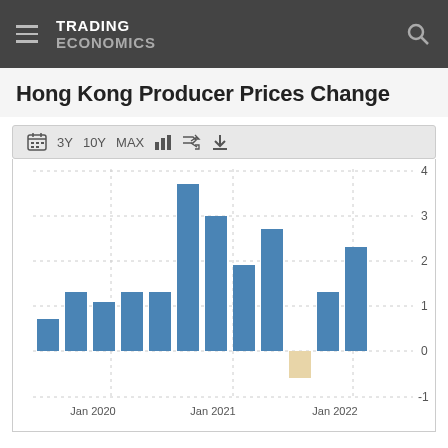TRADING ECONOMICS
Hong Kong Producer Prices Change
[Figure (bar-chart): Hong Kong Producer Prices Change]